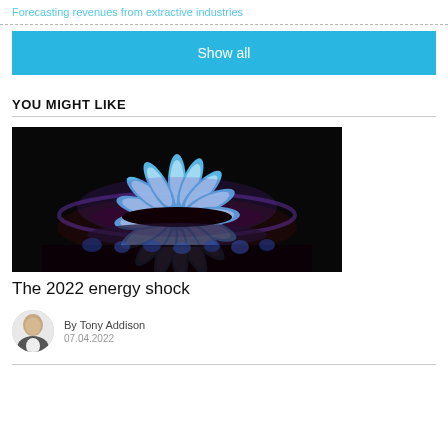Forecasting revenues from extractive industries
Show all
YOU MIGHT LIKE
[Figure (photo): A gas burner with blue and purple flames arranged in a circular ring on a dark background.]
The 2022 energy shock
By Tony Addison
07.04.2022